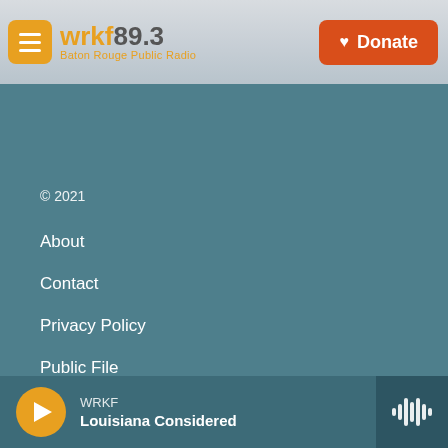[Figure (logo): WRKF 89.3 Baton Rouge Public Radio logo with orange hamburger menu button]
[Figure (other): Orange Donate button with heart icon]
© 2021
About
Contact
Privacy Policy
Public File
Careers
Volunteer for WRKF
[Figure (other): Audio player bar with play button, WRKF station info, and waveform icon showing Louisiana Considered]